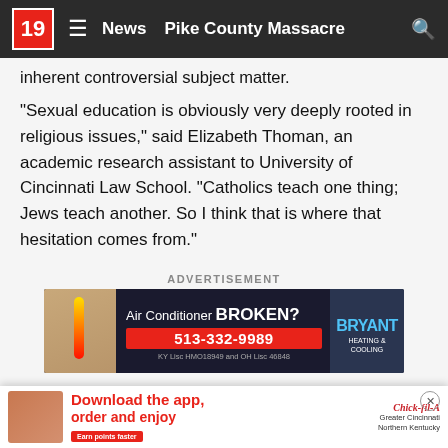19 ≡ News  Pike County Massacre  🔍
inherent controversial subject matter.
"Sexual education is obviously very deeply rooted in religious issues," said Elizabeth Thoman, an academic research assistant to University of Cincinnati Law School. "Catholics teach one thing; Jews teach another. So I think that is where that hesitation comes from."
ADVERTISEMENT
[Figure (infographic): Advertisement banner for Bryant Heating & Cooling showing Air Conditioner BROKEN? with phone number 513-332-9989 and KY Lisc HMO18949 and OH Lisc 46848]
While the Ohio Board of Education cannot set any standard for schools' sex education curricula, the state still impose[s]... itute, which f[...] and Ohio
[Figure (infographic): Bottom floating ad bar: Download the app, order and enjoy - Chick-fil-A Greater Cincinnati Northern Kentucky. Earn points faster.]